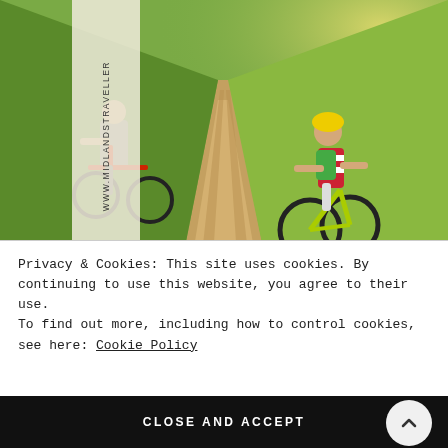[Figure (photo): Two cyclists riding along a dirt path through green fields in warm sunlight — an adult on a red bicycle on the left and a child wearing a yellow helmet and green backpack on a yellow-green bicycle on the right. A vertical cream-colored strip on the left side contains the rotated watermark text 'WWW.MIDLANDSTRAVELLER'. A purple banner runs across the bottom of the image.]
Privacy & Cookies: This site uses cookies. By continuing to use this website, you agree to their use.
To find out more, including how to control cookies, see here: Cookie Policy
CLOSE AND ACCEPT